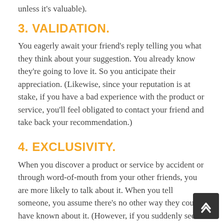unless it's valuable).
3. VALIDATION.
You eagerly await your friend's reply telling you what they think about your suggestion. You already know they're going to love it. So you anticipate their appreciation. (Likewise, since your reputation is at stake, if you have a bad experience with the product or service, you'll feel obligated to contact your friend and take back your recommendation.)
4. EXCLUSIVITY.
When you discover a product or service by accident or through word-of-mouth from your other friends, you are more likely to talk about it. When you tell someone, you assume there's no other way they could have known about it. (However, if you suddenly see the product commercially advertised in mass media, you know they could learn about it on their own. So you immediately stop spreading the good word!)
5. SUCCESS.
You are so happy with the discovery that you want the